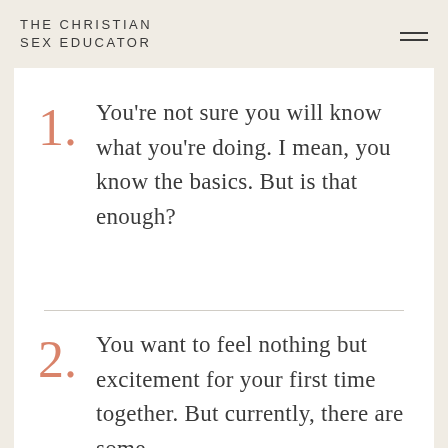THE CHRISTIAN SEX EDUCATOR
1. You're not sure you will know what you're doing. I mean, you know the basics. But is that enough?
2. You want to feel nothing but excitement for your first time together. But currently, there are some